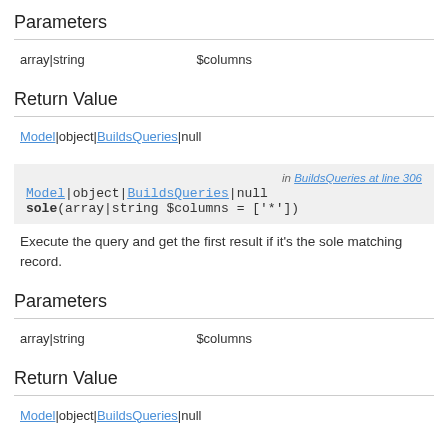Parameters
| array|string | $columns |
Return Value
Model|object|BuildsQueries|null
[Figure (other): Code block showing: in BuildsQueries at line 306 / Model|object|BuildsQueries|null / sole(array|string $columns = ['*'])]
Execute the query and get the first result if it's the sole matching record.
Parameters
| array|string | $columns |
Return Value
Model|object|BuildsQueries|null